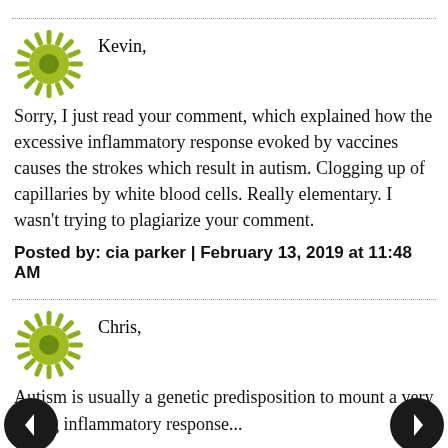Kevin,
Sorry, I just read your comment, which explained how the excessive inflammatory response evoked by vaccines causes the strokes which result in autism. Clogging up of capillaries by white blood cells. Really elementary. I wasn't trying to plagiarize your comment.
Posted by: cia parker | February 13, 2019 at 11:48 AM
Chris,
Autism is usually a genetic predisposition to mount a very strong inflammatory response...